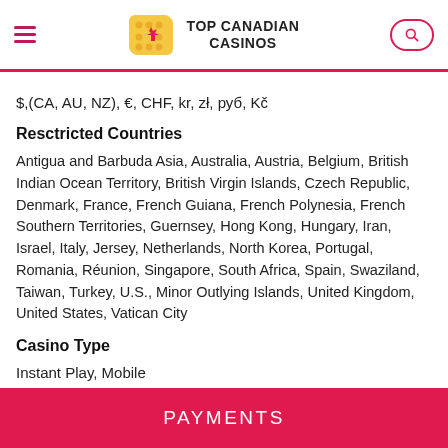TOP CANADIAN CASINOS
$,(CA, AU, NZ), €, CHF, kr, zł, руб, Kč
Resctricted Countries
Antigua and Barbuda Asia, Australia, Austria, Belgium, British Indian Ocean Territory, British Virgin Islands, Czech Republic, Denmark, France, French Guiana, French Polynesia, French Southern Territories, Guernsey, Hong Kong, Hungary, Iran, Israel, Italy, Jersey, Netherlands, North Korea, Portugal, Romania, Réunion, Singapore, South Africa, Spain, Swaziland, Taiwan, Turkey, U.S., Minor Outlying Islands, United Kingdom, United States, Vatican City
Casino Type
Instant Play, Mobile
PAYMENTS